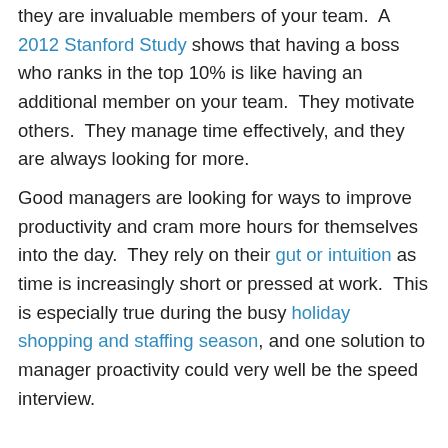they are invaluable members of your team. A 2012 Stanford Study shows that having a boss who ranks in the top 10% is like having an additional member on your team. They motivate others. They manage time effectively, and they are always looking for more.
Good managers are looking for ways to improve productivity and cram more hours for themselves into the day. They rely on their gut or intuition as time is increasingly short or pressed at work. This is especially true during the busy holiday shopping and staffing season, and one solution to manager proactivity could very well be the speed interview.
When it comes to hiring faster, better, and more quickly, the solution just might be the speed interview. Traditional face-to-face interviews range between thirty minutes to an hour